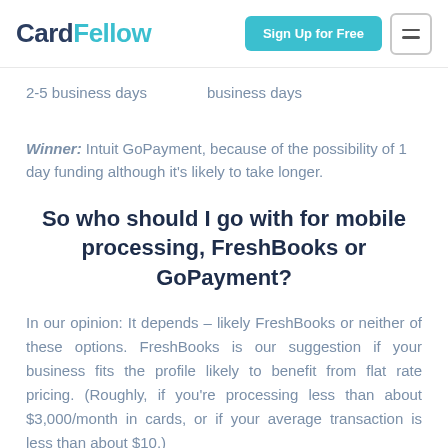CardFellow — Sign Up for Free
2-5 business days   business days
Winner: Intuit GoPayment, because of the possibility of 1 day funding although it's likely to take longer.
So who should I go with for mobile processing, FreshBooks or GoPayment?
In our opinion: It depends – likely FreshBooks or neither of these options. FreshBooks is our suggestion if your business fits the profile likely to benefit from flat rate pricing. (Roughly, if you're processing less than about $3,000/month in cards, or if your average transaction is less than about $10.)